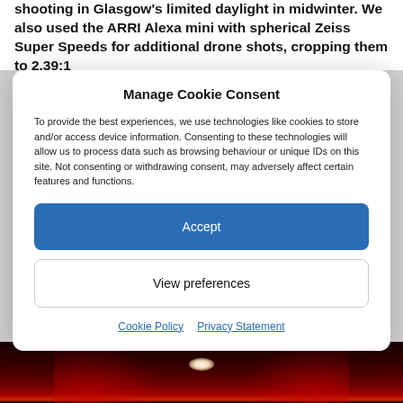shooting in Glasgow's limited daylight in midwinter. We also used the ARRI Alexa mini with spherical Zeiss Super Speeds for additional drone shots, cropping them to 2.39:1
Manage Cookie Consent
To provide the best experiences, we use technologies like cookies to store and/or access device information. Consenting to these technologies will allow us to process data such as browsing behaviour or unique IDs on this site. Not consenting or withdrawing consent, may adversely affect certain features and functions.
Accept
View preferences
Cookie Policy   Privacy Statement
[Figure (photo): Dark cinema interior with red lighting and a bright central glow at the end of the aisle]